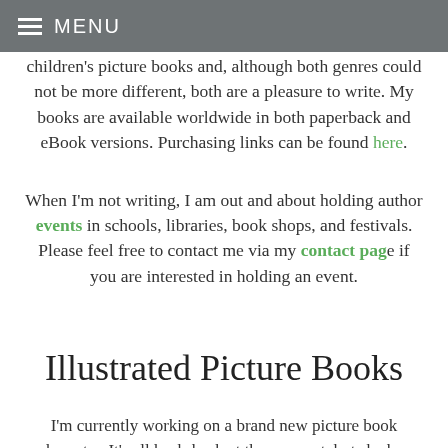≡ MENU
children's picture books and, although both genres could not be more different, both are a pleasure to write. My books are available worldwide in both paperback and eBook versions. Purchasing links can be found here.
When I'm not writing, I am out and about holding author events in schools, libraries, book shops, and festivals. Please feel free to contact me via my contact page if you are interested in holding an event.
Illustrated Picture Books
I'm currently working on a brand new picture book character. It's all hush-hush at the moment, but she has been a pleasure to create and I've already planned